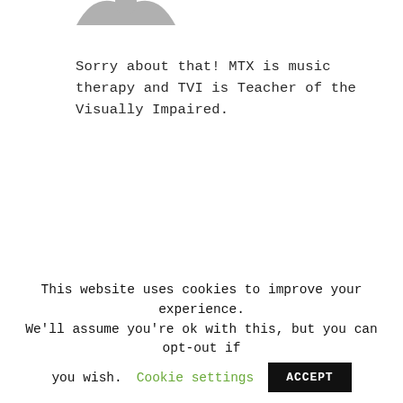[Figure (illustration): Partial view of a user avatar/profile image at the top of a comment or chat interface, showing the bottom portion of a gray silhouette icon]
Sorry about that! MTX is music therapy and TVI is Teacher of the Visually Impaired.
[Figure (photo): Partial view of a photo or image banner at the bottom of the content area, showing a gray/muted landscape or background image]
This website uses cookies to improve your experience. We'll assume you're ok with this, but you can opt-out if you wish. Cookie settings ACCEPT